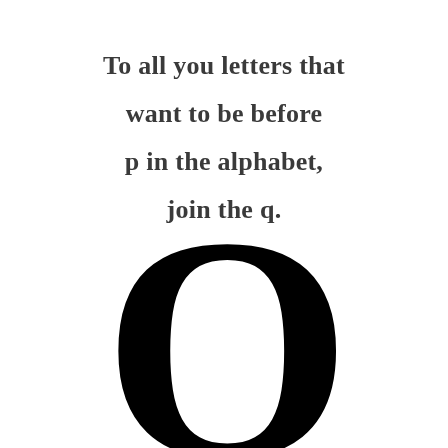To all you letters that want to be before p in the alphabet, join the q.
[Figure (illustration): Large bold letter Q centered at the bottom of the page, partially cropped]